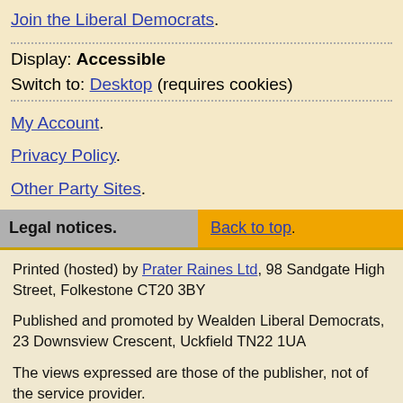Join the Liberal Democrats.
Display: Accessible
Switch to: Desktop (requires cookies)
My Account.
Privacy Policy.
Other Party Sites.
Legal notices.   Back to top.
Printed (hosted) by Prater Raines Ltd, 98 Sandgate High Street, Folkestone CT20 3BY
Published and promoted by Wealden Liberal Democrats, 23 Downsview Crescent, Uckfield TN22 1UA
The views expressed are those of the publisher, not of the service provider.
Website designed and developed by Prater Raines Ltd